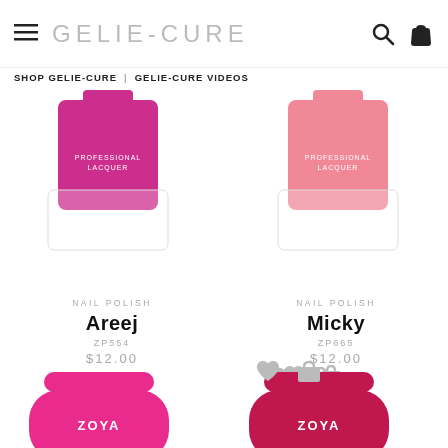GELIE-CURE
SHOP GELIE-CURE | GELIE-CURE VIDEOS
[Figure (photo): Two Zoya nail polish bottles (top halves visible): left bottle is magenta/fuchsia, right bottle is light pink/coral]
NAIL POLISH
Areej
ZP554
$12.00
NAIL POLISH
Micky
ZP665
$12.00
[Figure (photo): Two Zoya nail polish bottles (bottom halves and ZOYA label visible): left bottle is hot pink/magenta, right bottle is deep red/crimson]